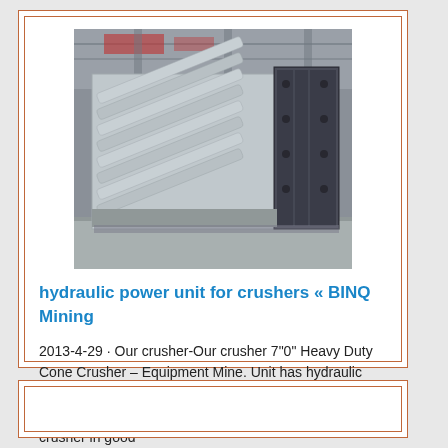[Figure (photo): Industrial metal crusher or mining equipment parts laid out in a warehouse/factory setting. Large metal frame with diagonal parallel rods/rollers visible, dark metal side panel with bolt holes. Concrete floor and warehouse structure visible in background.]
hydraulic power unit for crushers « BINQ Mining
2013-4-29 · Our crusher-Our crusher 7"0" Heavy Duty Cone Crusher – Equipment Mine. Unit has hydraulic clamping, clearing and adjustment. It is offered with lubrication system and hydraulic power pack. The crusher in good